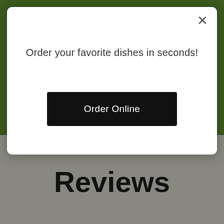Order your favorite dishes in seconds!
Order Online
Reviews